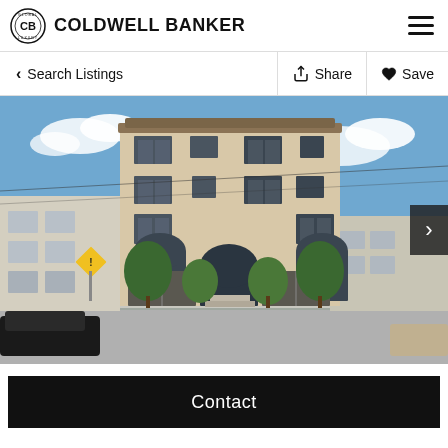COLDWELL BANKER
< Search Listings   Share   Save
[Figure (photo): Exterior photo of a 4-story tan/beige apartment building with arched windows and entry, garages on ground floor, trees flanking, parked cars on street, neighboring buildings visible, blue sky with clouds]
Contact